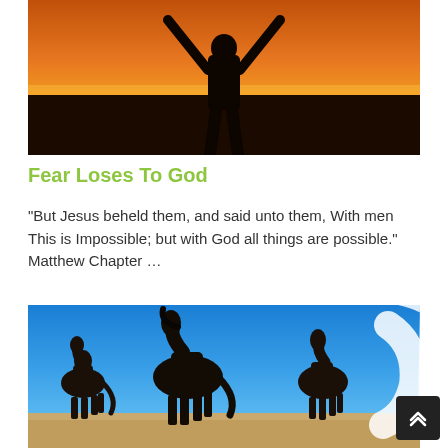[Figure (photo): Silhouette of a person with arms raised wide against a vivid orange and yellow sunset sky over a dark ocean horizon]
Fear Loses To God
"But Jesus beheld them, and said unto them, With men This is Impossible; but with God all things are possible." Matthew Chapter …
[Figure (photo): Three dark horses standing on a sandy beach against a bright blue sky, with a partial white curved shape on the right side]